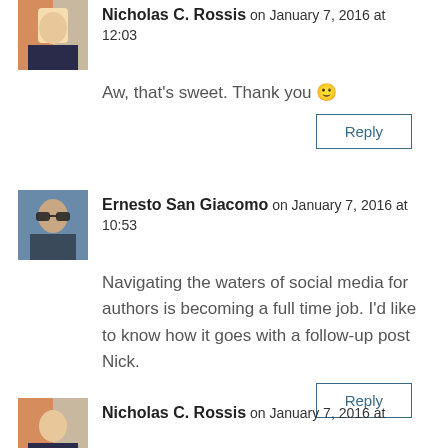Nicholas C. Rossis on January 7, 2016 at 12:03
Aw, that’s sweet. Thank you 🙂
Reply
Ernesto San Giacomo on January 7, 2016 at 10:53
Navigating the waters of social media for authors is becoming a full time job. I’d like to know how it goes with a follow-up post Nick.
Reply
Nicholas C. Rossis on January 7, 2016 at